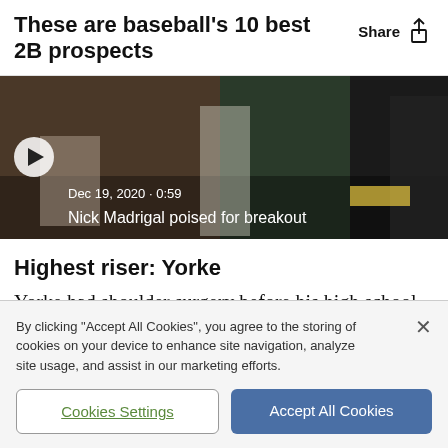These are baseball's 10 best 2B prospects
[Figure (screenshot): Share button with upload icon in top right corner]
[Figure (photo): Video thumbnail showing baseball players on field. Date: Dec 19, 2020 · 0:59. Title: Nick Madrigal poised for breakout. Play button circle on left.]
Highest riser: Yorke
Yorke had shoulder surgery before his high school junior season in 2019, which relegated him to DH
By clicking "Accept All Cookies", you agree to the storing of cookies on your device to enhance site navigation, analyze site usage, and assist in our marketing efforts.
Cookies Settings
Accept All Cookies